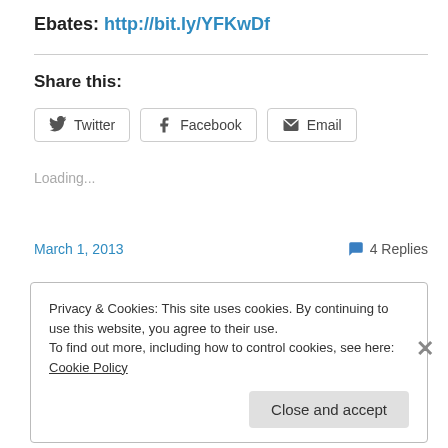Ebates: http://bit.ly/YFKwDf
Share this:
[Figure (other): Share buttons for Twitter, Facebook, and Email]
Loading...
March 1, 2013
4 Replies
Privacy & Cookies: This site uses cookies. By continuing to use this website, you agree to their use. To find out more, including how to control cookies, see here: Cookie Policy
Close and accept